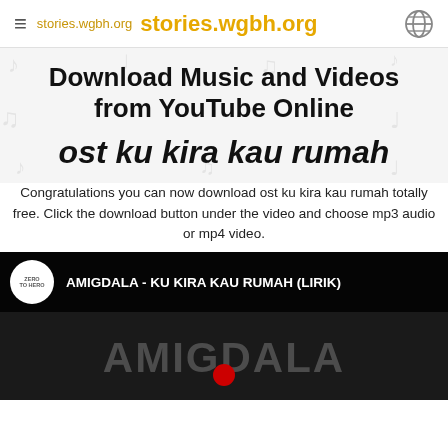stories.wgbh.org  stories.wgbh.org
Download Music and Videos from YouTube Online
ost ku kira kau rumah
Congratulations you can now download ost ku kira kau rumah totally free. Click the download button under the video and choose mp3 audio or mp4 video.
[Figure (screenshot): YouTube video thumbnail showing AMIGDALA - KU KIRA KAU RUMAH (LIRIK) with Zero To Hero channel logo and dark background with AMIGDALA text]